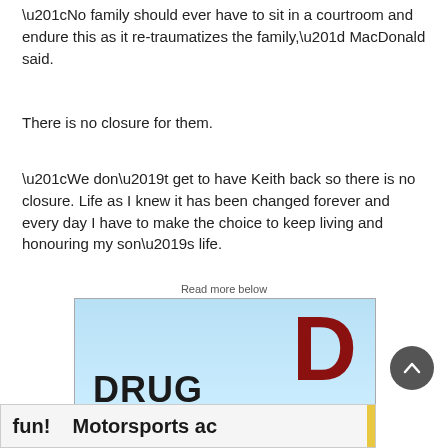“No family should ever have to sit in a courtroom and endure this as it re-traumatizes the family,” MacDonald said.
There is no closure for them.
“We don’t get to have Keith back so there is no closure. Life as I knew it has been changed forever and every day I have to make the choice to keep living and honouring my son’s life.
Read more below
[Figure (other): Advertisement banner showing 'DRUG D' text with blue gradient background and large red D letter]
[Figure (other): Scroll-to-top button (dark circular button with upward chevron)]
[Figure (other): Bottom advertisement banner showing 'fun! Motorsports ac' text, partially cut off]